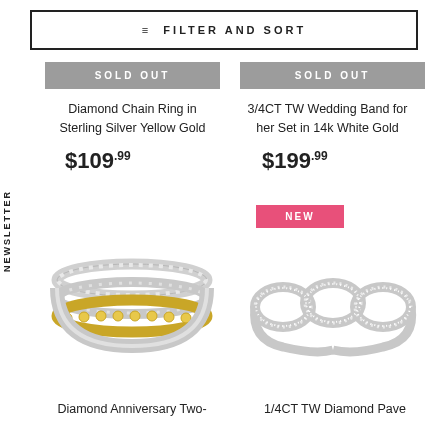FILTER AND SORT
SOLD OUT
Diamond Chain Ring in Sterling Silver Yellow Gold
$109.99
SOLD OUT
3/4CT TW Wedding Band for her Set in 14k White Gold
$199.99
NEWSLETTER
[Figure (photo): Diamond Anniversary Two-tone ring with multiple bands]
NEW
[Figure (photo): 1/4CT TW Diamond Pave chain-link style ring in white gold]
Diamond Anniversary Two-
1/4CT TW Diamond Pave